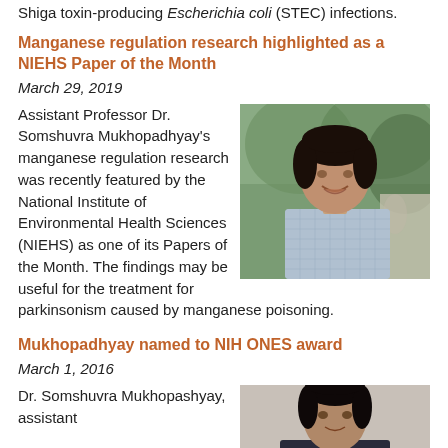Shiga toxin-producing Escherichia coli (STEC) infections.
Manganese regulation research highlighted as a NIEHS Paper of the Month
March 29, 2019
[Figure (photo): Headshot of Dr. Somshuvra Mukhopadhyay, outdoors with greenery in background]
Assistant Professor Dr. Somshuvra Mukhopadhyay's manganese regulation research was recently featured by the National Institute of Environmental Health Sciences (NIEHS) as one of its Papers of the Month. The findings may be useful for the treatment for parkinsonism caused by manganese poisoning.
Mukhopadhyay named to NIH ONES award
March 1, 2016
[Figure (photo): Headshot of Dr. Somshuvra Mukhopadhyay in formal attire]
Dr. Somshuvra Mukhopashyay, assistant